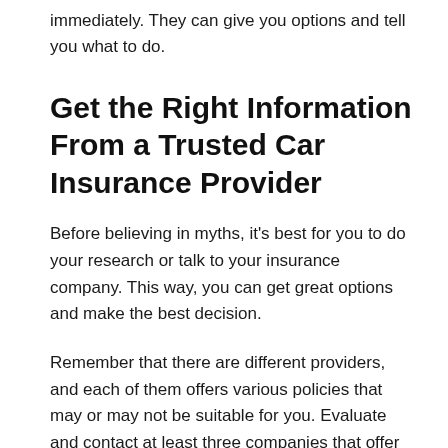immediately. They can give you options and tell you what to do.
Get the Right Information From a Trusted Car Insurance Provider
Before believing in myths, it's best for you to do your research or talk to your insurance company. This way, you can get great options and make the best decision.
Remember that there are different providers, and each of them offers various policies that may or may not be suitable for you. Evaluate and contact at least three companies that offer auto insurance in Lexington, KY to know which policy will work best for you.